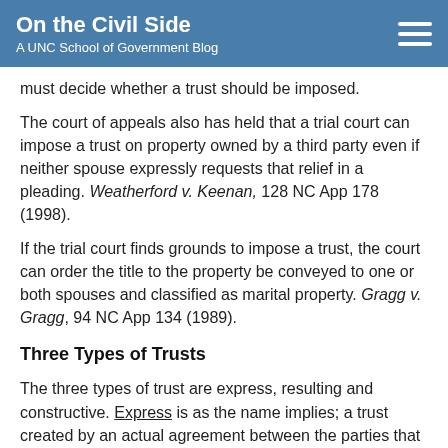On the Civil Side
A UNC School of Government Blog
must decide whether a trust should be imposed.
The court of appeals also has held that a trial court can impose a trust on property owned by a third party even if neither spouse expressly requests that relief in a pleading. Weatherford v. Keenan, 128 NC App 178 (1998).
If the trial court finds grounds to impose a trust, the court can order the title to the property be conveyed to one or both spouses and classified as marital property. Gragg v. Gragg, 94 NC App 134 (1989).
Three Types of Trusts
The three types of trust are express, resulting and constructive. Express is as the name implies; a trust created by an actual agreement between the parties that a third party will hold title for one or both spouses. The court simply enforces the express agreement between the parties.
A resulting trust arises from the presumed intent of the parties at the time title is taken by one party under facts and circumstances showing that the beneficial interest is the other’s.